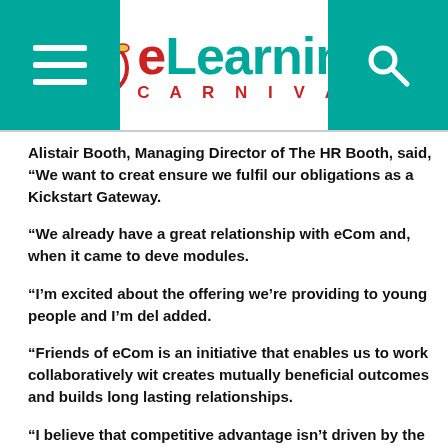[Figure (logo): eLearning Carnival logo with tambourine icon, teal and red color scheme, with hamburger menu button on left and search button on right]
Alistair Booth, Managing Director of The HR Booth, said, “We want to creat ensure we fulfil our obligations as a Kickstart Gateway.
“We already have a great relationship with eCom and, when it came to deve modules.
“I’m excited about the offering we’re providing to young people and I’m del added.
“Friends of eCom is an initiative that enables us to work collaboratively wit creates mutually beneficial outcomes and builds long lasting relationships.
“I believe that competitive advantage isn’t driven by the resources you cont and organisations with whom eCom work we realised that, to truly help, we